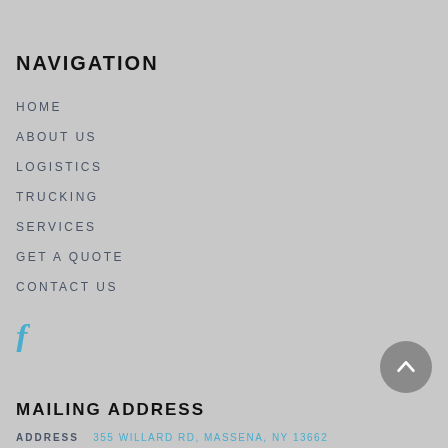NAVIGATION
HOME
ABOUT US
LOGISTICS
TRUCKING
SERVICES
GET A QUOTE
CONTACT US
[Figure (logo): Facebook icon in blue]
MAILING ADDRESS
ADDRESS   355 WILLARD RD, MASSENA, NY 13662